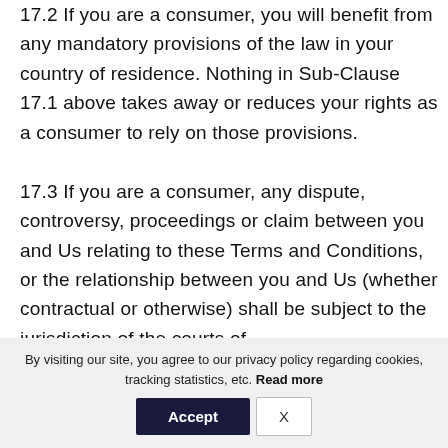17.2 If you are a consumer, you will benefit from any mandatory provisions of the law in your country of residence. Nothing in Sub-Clause 17.1 above takes away or reduces your rights as a consumer to rely on those provisions. 17.3 If you are a consumer, any dispute, controversy, proceedings or claim between you and Us relating to these Terms and Conditions, or the relationship between you and Us (whether contractual or otherwise) shall be subject to the jurisdiction of the courts of
By visiting our site, you agree to our privacy policy regarding cookies, tracking statistics, etc. Read more